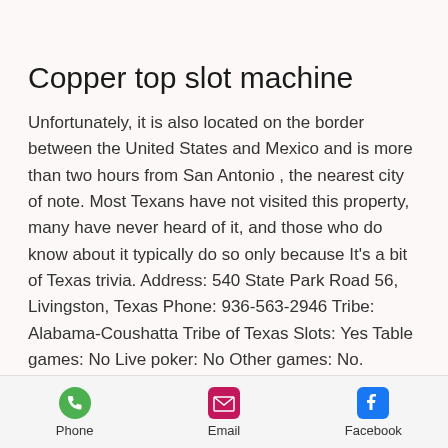Copper top slot machine
Unfortunately, it is also located on the border between the United States and Mexico and is more than two hours from San Antonio , the nearest city of note. Most Texans have not visited this property, many have never heard of it, and those who do know about it typically do so only because It's a bit of Texas trivia. Address: 540 State Park Road 56, Livingston, Texas Phone: 936-563-2946 Tribe: Alabama-Coushatta Tribe of Texas Slots: Yes Table games: No Live poker: No Other games: No. Naskila Gaming is a slots-only casino owned and operated by the Alabama-Coushatta Tribe of Texas. copper
Phone  Email  Facebook